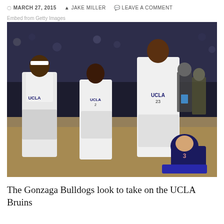MARCH 27, 2015   JAKE MILLER   LEAVE A COMMENT
Embed from Getty Images
[Figure (photo): Basketball game photo showing UCLA Bruins players in white uniforms celebrating on the court while a Gonzaga Bulldogs player in dark navy uniform number 3 sits on the floor with head down.]
The Gonzaga Bulldogs look to take on the UCLA Bruins